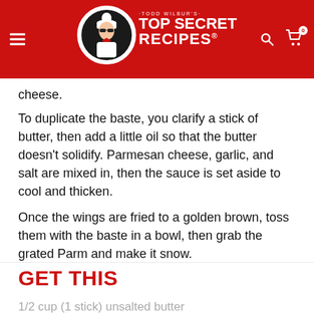Todd Wilbur's Top Secret Recipes
cheese.
To duplicate the baste, you clarify a stick of butter, then add a little oil so that the butter doesn't solidify. Parmesan cheese, garlic, and salt are mixed in, then the sauce is set aside to cool and thicken.
Once the wings are fried to a golden brown, toss them with the baste in a bowl, then grab the grated Parm and make it snow.
Check out my other Wingstop clone recipes here.
GET THIS
1/2 cup (1 stick) unsalted butter